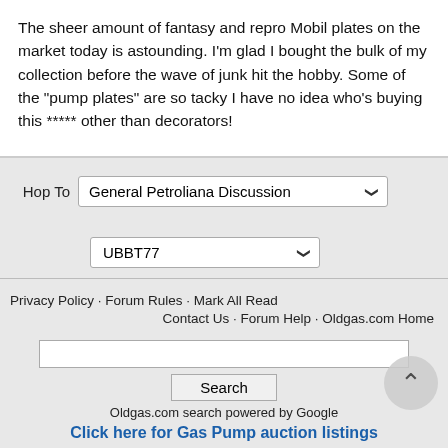The sheer amount of fantasy and repro Mobil plates on the market today is astounding. I'm glad I bought the bulk of my collection before the wave of junk hit the hobby. Some of the "pump plates" are so tacky I have no idea who's buying this ***** other than decorators!
Hop To  General Petroliana Discussion
UBBT77
Privacy Policy · Forum Rules · Mark All Read
Contact Us · Forum Help · Oldgas.com Home
Search
Oldgas.com search powered by Google
Click here for Gas Pump auction listings
Copyright © 2021 Primarily Petroliana Interactive. All Rights Reserved
Powered by UBB.threads™ PHP Forum Software 7.7.4